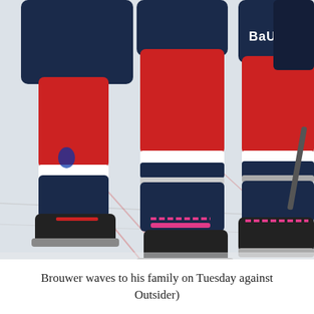[Figure (photo): Close-up photo of hockey players' legs and ice skates on an ice rink. Players are wearing red, white, and navy blue hockey socks. One player has pink laces on their Bauer ice skates. The word 'BAUER' is visible on dark navy hockey shorts in the upper right.]
Brouwer waves to his family on Tuesday against Outsider)